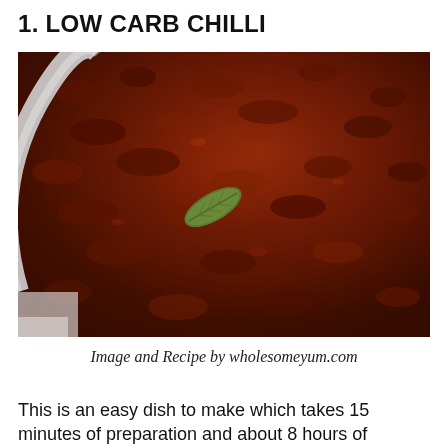1. LOW CARB CHILLI
[Figure (photo): Close-up photo of low carb chilli cooking in a slow cooker pot, showing browned ground meat in a rich dark red sauce with a single bay leaf visible in the center.]
Image and Recipe by wholesomeyum.com
This is an easy dish to make which takes 15 minutes of preparation and about 8 hours of